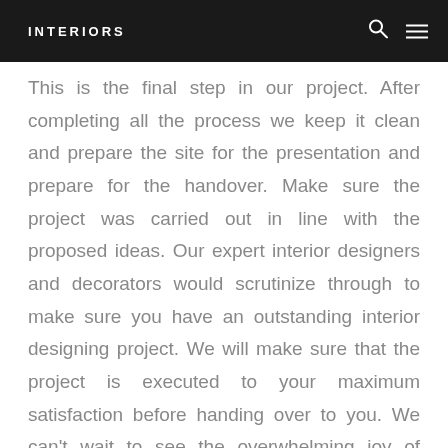INTERIORS
This is the final step in our project. After completing all the process we keep it clean and prepare the site for the presentation and prepare for the handover. Make sure the project was carried out in line with the proposed ideas. Our expert interior designers and decorators would scrutinize through to make sure you have an outstanding interior designing project. We will make sure that the project is executed to your maximum satisfaction before handing over to you. We can't wait to see the overwhelming joy of reactions from our client when they view the